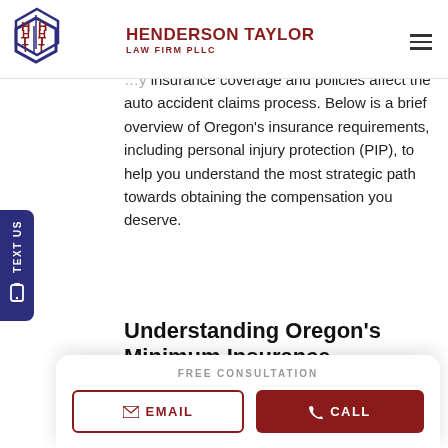[Figure (logo): Henderson Taylor Law Firm PLLC logo with hexagon HT emblem in red and navy blue]
insurance coverage and policies affect the auto accident claims process. Below is a brief overview of Oregon's insurance requirements, including personal injury protection (PIP), to help you understand the most strategic path towards obtaining the compensation you deserve.
Understanding Oregon's Minimum Insurance Requirements
FREE CONSULTATION
EMAIL
CALL